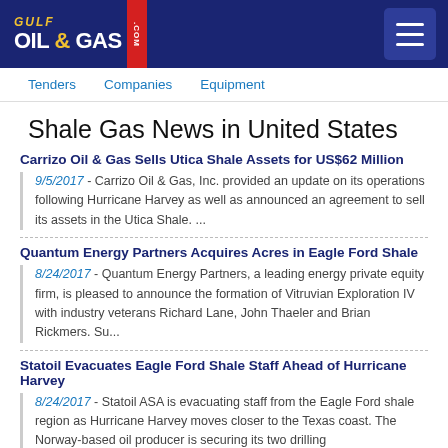Gulf Oil & Gas .com
Tenders   Companies   Equipment
Shale Gas News in United States
Carrizo Oil & Gas Sells Utica Shale Assets for US$62 Million
9/5/2017 - Carrizo Oil & Gas, Inc. provided an update on its operations following Hurricane Harvey as well as announced an agreement to sell its assets in the Utica Shale. ...
Quantum Energy Partners Acquires Acres in Eagle Ford Shale
8/24/2017 - Quantum Energy Partners, a leading energy private equity firm, is pleased to announce the formation of Vitruvian Exploration IV with industry veterans Richard Lane, John Thaeler and Brian Rickmers. Su...
Statoil Evacuates Eagle Ford Shale Staff Ahead of Hurricane Harvey
8/24/2017 - Statoil ASA is evacuating staff from the Eagle Ford shale region as Hurricane Harvey moves closer to the Texas coast. The Norway-based oil producer is securing its two drilling